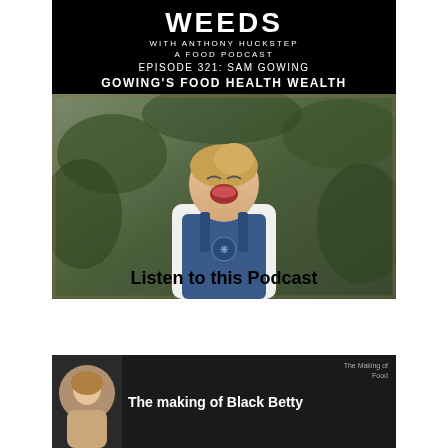[Figure (photo): Podcast cover image for 'Weeds with Anthony Huckstep - A Food Podcast, Episode 321: Sam Gowing - Gowing's Food Health Wealth'. Black background with white text at top, below which is a photo of a laughing woman in a blue apron and white chef's jacket, standing in front of green foliage.]
Listen to this Podcast
[Figure (screenshot): Partial bottom card showing 'The making of Black Betty' with a circular avatar image of a woman on the left and small text 'The Making of Food' on the right, on a dark background.]